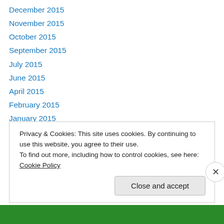December 2015
November 2015
October 2015
September 2015
July 2015
June 2015
April 2015
February 2015
January 2015
December 2014
November 2014
October 2014
September 2014
Privacy & Cookies: This site uses cookies. By continuing to use this website, you agree to their use. To find out more, including how to control cookies, see here: Cookie Policy